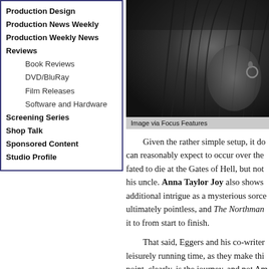Production Design
Production News Weekly
Production Weekly News
Reviews
Book Reviews
DVD/BluRay
Film Releases
Software and Hardware
Screening Series
Shop Talk
Sponsored Content
Studio Profile
[Figure (photo): Black and white close-up photo of a person with dark hair and a hoop earring, partially cropped]
Image via Focus Features
Given the rather simple setup, it do can reasonably expect to occur over the fated to die at the Gates of Hell, but not his uncle. Anna Taylor Joy also shows additional intrigue as a mysterious sorce ultimately pointless, and The Northman it to from start to finish.
That said, Eggers and his co-writer leisurely running time, as they make thi point, clearly, is the journey, and not Am created by Eggers' confident camera a